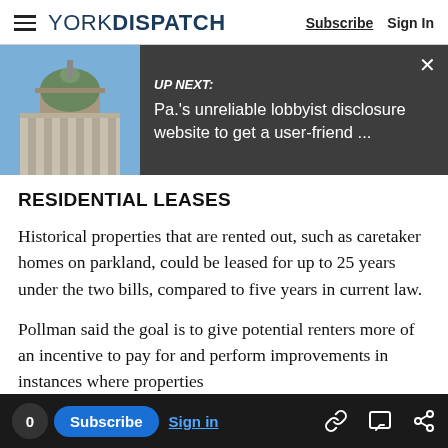YORK DISPATCH | Subscribe  Sign In
[Figure (screenshot): UP NEXT banner with a photo of a historic building dome (blue sky, ornate architecture) and dark gray background with text: UP NEXT: Pa.'s unreliable lobbyist disclosure website to get a user-friend ... and a close (X) button]
RESIDENTIAL LEASES
Historical properties that are rented out, such as caretaker homes on parkland, could be leased for up to 25 years under the two bills, compared to five years in current law.
Pollman said the goal is to give potential renters more of an incentive to pay for and perform improvements in instances where properties
0  Subscribe  Sign in  [link icon] [comment icon] [share icon]